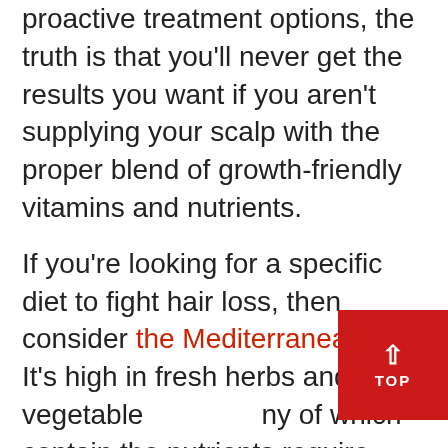tempting to want to jump ahead to more proactive treatment options, the truth is that you'll never get the results you want if you aren't supplying your scalp with the proper blend of growth-friendly vitamins and nutrients.
If you're looking for a specific diet to fight hair loss, then consider the Mediterranean diet. It's high in fresh herbs and raw vegetables, many of which contain the nutrients required for hair growth.
But whether you go with the Mediterranean